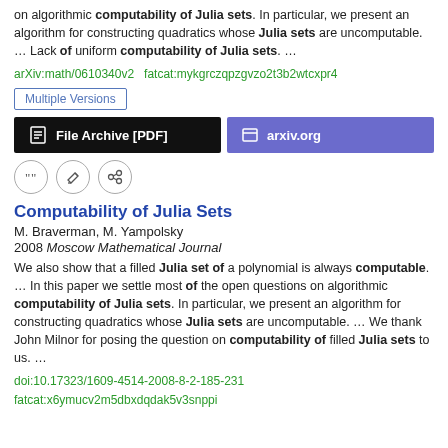on algorithmic computability of Julia sets. In particular, we present an algorithm for constructing quadratics whose Julia sets are uncomputable.  …  Lack of uniform computability of Julia sets.  …
arXiv:math/0610340v2  fatcat:mykgrczqpzgvzo2t3b2wtcxpr4
Multiple Versions
[Figure (screenshot): Two buttons: 'File Archive [PDF]' in black and 'arxiv.org' in purple]
[Figure (screenshot): Three circular icon buttons: quote, edit, and share]
Computability of Julia Sets
M. Braverman, M. Yampolsky
2008 Moscow Mathematical Journal
We also show that a filled Julia set of a polynomial is always computable.  …  In this paper we settle most of the open questions on algorithmic computability of Julia sets. In particular, we present an algorithm for constructing quadratics whose Julia sets are uncomputable.  …  We thank John Milnor for posing the question on computability of filled Julia sets to us.  …
doi:10.17323/1609-4514-2008-8-2-185-231
fatcat:x6ymucv2m5dbxdqdak5v3snppi